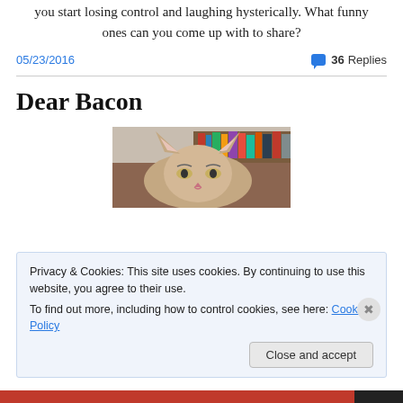you start losing control and laughing hysterically. What funny ones can you come up with to share?
05/23/2016
36 Replies
Dear Bacon
[Figure (photo): Photo of a Sphynx cat with large ears, looking at the camera, bookshelf in background]
Privacy & Cookies: This site uses cookies. By continuing to use this website, you agree to their use.
To find out more, including how to control cookies, see here: Cookie Policy
Close and accept